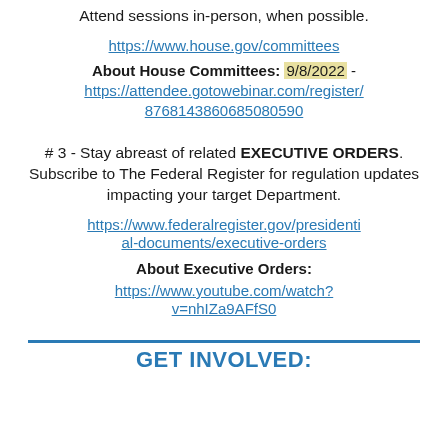Attend sessions in-person, when possible.
https://www.house.gov/committees
About House Committees: 9/8/2022 - https://attendee.gotowebinar.com/register/8768143860685080590
# 3 - Stay abreast of related EXECUTIVE ORDERS. Subscribe to The Federal Register for regulation updates impacting your target Department.
https://www.federalregister.gov/presidential-documents/executive-orders
About Executive Orders:
https://www.youtube.com/watch?v=nhIZa9AFfS0
GET INVOLVED: